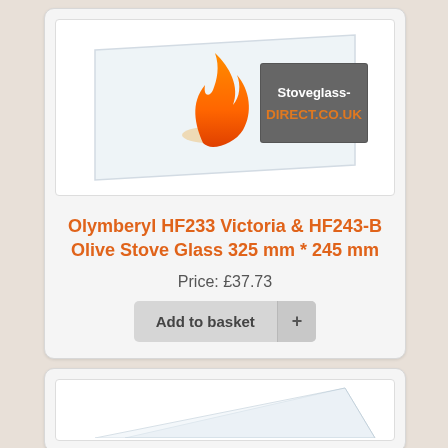[Figure (photo): Product photo of stove glass panel with Stoveglass-DIRECT.CO.UK logo (flame icon and logo on glass panel)]
Olymberyl HF233 Victoria & HF243-B Olive Stove Glass 325 mm * 245 mm
Price: £37.73
Add to basket +
[Figure (photo): Product photo of a clear rectangular stove glass panel, partially visible at the bottom of the page]